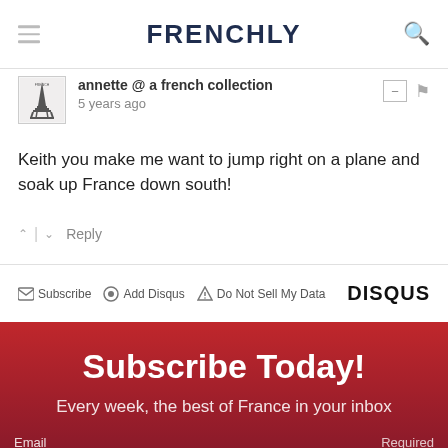FRENCHLY
annette @ a french collection
5 years ago
Keith you make me want to jump right on a plane and soak up France down south!
↑ | ↓  Reply
✉ Subscribe  ⊙ Add Disqus  ⚠ Do Not Sell My Data   DISQUS
Subscribe Today!
Every week, the best of France in your inbox
Email                                                Required